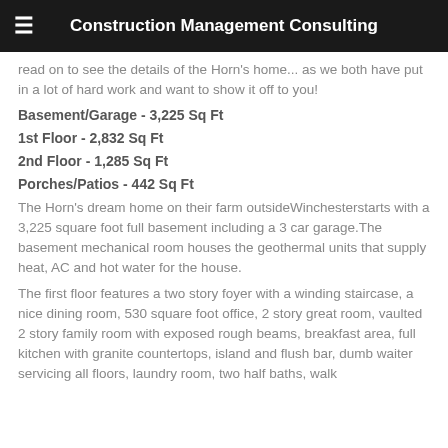Construction Management Consulting
read on to see the details of the Horn's home... as we both have put in a lot of hard work and want to show it off to you!
Basement/Garage - 3,225 Sq Ft
1st Floor - 2,832 Sq Ft
2nd Floor - 1,285 Sq Ft
Porches/Patios - 442 Sq Ft
The Horn's dream home on their farm outsideWinchesterstarts with a 3,225 square foot full basement including a 3 car garage.The basement mechanical room houses the geothermal units that supply heat, AC and hot water for the house.
The first floor features a two story foyer with a winding staircase, a nice dining room, 530 square foot office, 2 story great room, vaulted 2 story family room with exposed rough beams, breakfast area, full kitchen with granite countertops, island and flush bar, dumb waiter servicing all floors, laundry room, two half baths, walk